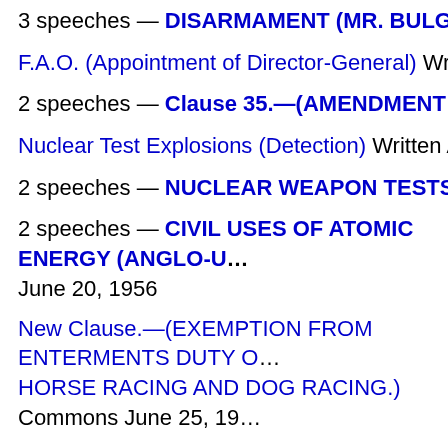3 speeches — DISARMAMENT (MR. BULGANIN'S LETTER)
F.A.O. (Appointment of Director-General) Written Answers Jun...
2 speeches — Clause 35.—(AMENDMENT OF NATIONAL L...
Nuclear Test Explosions (Detection) Written Answers June 18,...
2 speeches — NUCLEAR WEAPON TESTS Commons June...
2 speeches — CIVIL USES OF ATOMIC ENERGY (ANGLO-U... June 20, 1956
New Clause.—(EXEMPTION FROM ENTERMENTS DUTY O... HORSE RACING AND DOG RACING.) Commons June 25, 19...
2 speeches — Nuclear Explosions Commons June 27, 1956
Nuclear Test Explosions Written Answers June 27, 1956
3 speeches — Infant Welfare Centre, Rowley Regis Commo...
2 speeches — ISRAEL-JORDAN FRONTIER (INCIDENTS) C...